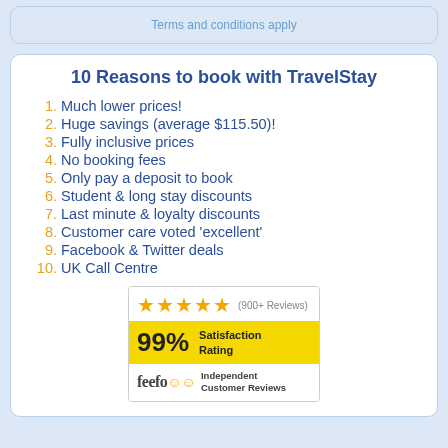Terms and conditions apply
10 Reasons to book with TravelStay
1. Much lower prices!
2. Huge savings (average $115.50)!
3. Fully inclusive prices
4. No booking fees
5. Only pay a deposit to book
6. Student & long stay discounts
7. Last minute & loyalty discounts
8. Customer care voted 'excellent'
9. Facebook & Twitter deals
10. UK Call Centre
[Figure (infographic): Feefo review badge showing 5 stars, (900+ Reviews), 99% Satisfaction Rating, and Independent Customer Reviews]